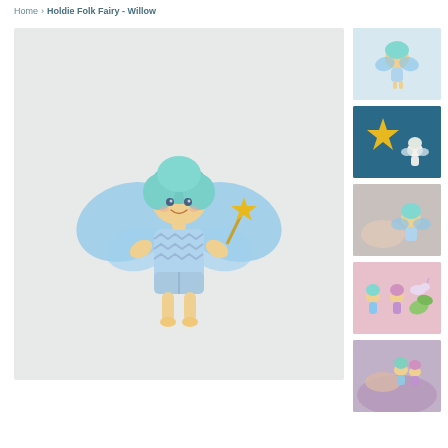Home › Holdie Folk Fairy - Willow
[Figure (photo): Main product photo of Holdie Folk Fairy Willow doll - a small plush fairy with blue hair, blue wings, blue zig-zag outfit, and a gold star wand, on light gray background]
[Figure (photo): Thumbnail 1: Small Holdie Folk Fairy Willow doll on white/light blue background]
[Figure (photo): Thumbnail 2: Holdie Folk Fairy doll with large gold star on dark teal blue background]
[Figure (photo): Thumbnail 3: Person holding Holdie Folk Fairy Willow doll, white fluffy background]
[Figure (photo): Thumbnail 4: Multiple small fairy/folk figures on pink background]
[Figure (photo): Thumbnail 5: Person holding small fairy figures, purple/lavender background]